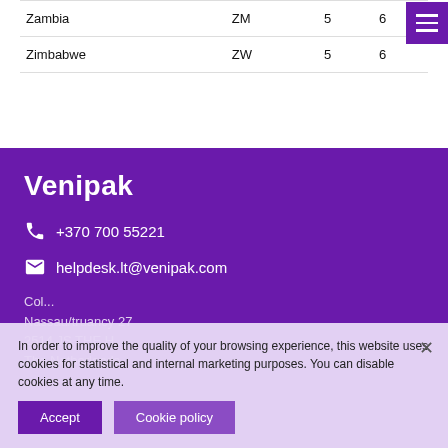| Country | Code | Col3 | Col4 |
| --- | --- | --- | --- |
| Zambia | ZM | 5 | 6 |
| Zimbabwe | ZW | 5 | 6 |
Venipak
+370 700 55221
helpdesk.lt@venipak.com
Coll... Nassau/truancy 27 2514 JS THE H... The Netherlands
In order to improve the quality of your browsing experience, this website uses cookies for statistical and internal marketing purposes. You can disable cookies at any time.